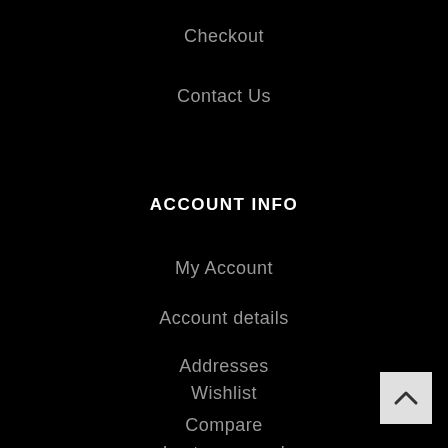Checkout
Contact Us
ACCOUNT INFO
My Account
Account details
Addresses
Wishlist
Compare
Lost password
[Figure (other): Back to top button with upward chevron arrow on light gray background]